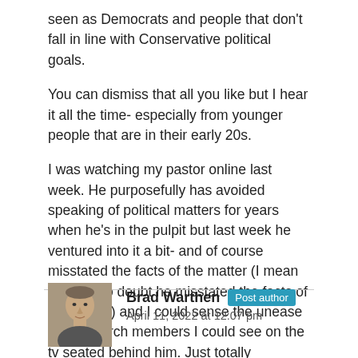seen as Democrats and people that don't fall in line with Conservative political goals.
You can dismiss that all you like but I hear it all the time- especially from younger people that are in their early 20s.
I was watching my pastor online last week. He purposefully has avoided speaking of political matters for years when he's in the pulpit but last week he ventured into it a bit- and of course misstated the facts of the matter (I mean there is no doubt he misstated the facts of the matter) and I could sense the unease in the church members I could see on the tv seated behind him. Just totally unnecessary.
[Figure (photo): Profile photo of Brad Warthen, showing a middle-aged man with a neutral expression, gray/brown tones]
Brad Warthen  Post author
April 11, 2022 at 12:07 pm